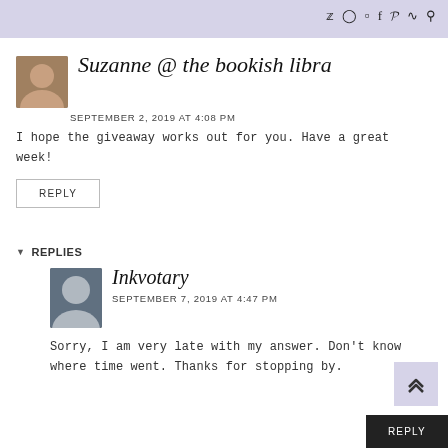Social icons: Twitter, Instagram, RSS, Facebook, Pinterest, Feed, Search
Suzanne @ the bookish libra
SEPTEMBER 2, 2019 AT 4:08 PM
I hope the giveaway works out for you. Have a great week!
REPLY
▼ REPLIES
Inkvotary
SEPTEMBER 7, 2019 AT 4:47 PM
Sorry, I am very late with my answer. Don't know where time went. Thanks for stopping by.
REPLY